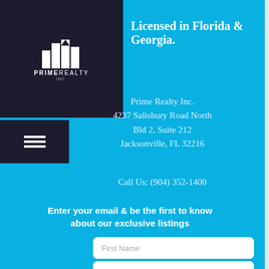[Figure (logo): Prime Realty logo: white building skyline icon on dark navy background with text PRIME REALTY below]
[Figure (other): Hamburger menu icon (three horizontal white lines) on dark navy background]
Licensed in Florida & Georgia.
Prime Realty Inc.
4237 Salisbury Road North
Bld 2, Suite 212
Jacksonville, FL 32216
Call Us: (904) 352-1400
Enter your email & be the first to know about our exclusive listings
First Name
Last Name